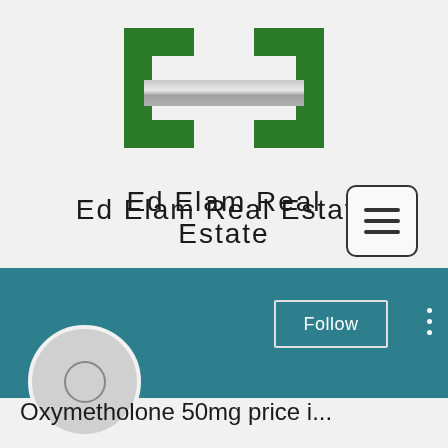[Figure (logo): Ed Elam Real Estate logo — two green stylized bracket/E shapes with a horizontal silver/grey bar across the middle, forming a symmetrical emblem]
Ed Elam Real Estate
[Figure (screenshot): Mobile website screenshot showing a teal/dark-cyan banner, a Follow button with a border, a three-dot vertical menu icon, and a circular avatar placeholder with a small circle inside]
Oxymetholone 50mg price i...